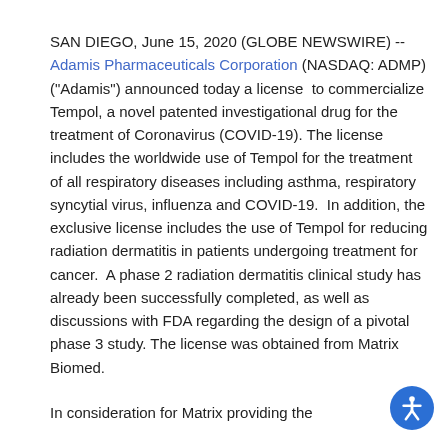SAN DIEGO, June 15, 2020 (GLOBE NEWSWIRE) -- Adamis Pharmaceuticals Corporation (NASDAQ: ADMP) ("Adamis") announced today a license to commercialize Tempol, a novel patented investigational drug for the treatment of Coronavirus (COVID-19). The license includes the worldwide use of Tempol for the treatment of all respiratory diseases including asthma, respiratory syncytial virus, influenza and COVID-19. In addition, the exclusive license includes the use of Tempol for reducing radiation dermatitis in patients undergoing treatment for cancer. A phase 2 radiation dermatitis clinical study has already been successfully completed, as well as discussions with FDA regarding the design of a pivotal phase 3 study. The license was obtained from Matrix Biomed.
In consideration for Matrix providing the